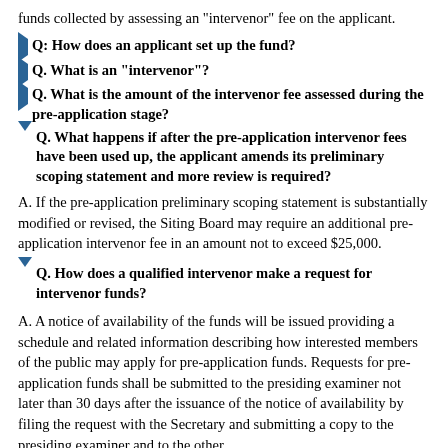funds collected by assessing an "intervenor" fee on the applicant.
Q: How does an applicant set up the fund?
Q. What is an "intervenor"?
Q. What is the amount of the intervenor fee assessed during the pre-application stage?
Q. What happens if after the pre-application intervenor fees have been used up, the applicant amends its preliminary scoping statement and more review is required?
A. If the pre-application preliminary scoping statement is substantially modified or revised, the Siting Board may require an additional pre-application intervenor fee in an amount not to exceed $25,000.
Q. How does a qualified intervenor make a request for intervenor funds?
A. A notice of availability of the funds will be issued providing a schedule and related information describing how interested members of the public may apply for pre-application funds. Requests for pre-application funds shall be submitted to the presiding examiner not later than 30 days after the issuance of the notice of availability by filing the request with the Secretary and submitting a copy to the presiding examiner and to the other